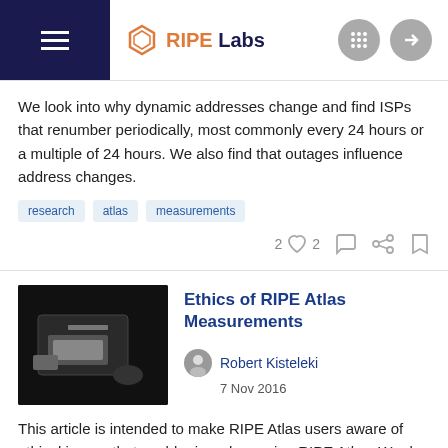RIPE Labs
We look into why dynamic addresses change and find ISPs that renumber periodically, most commonly every 24 hours or a multiple of 24 hours. We also find that outages influence address changes.
research
atlas
measurements
Ethics of RIPE Atlas Measurements
Robert Kisteleki
7 Nov 2016
This article is intended to make RIPE Atlas users aware of ethical issues that could arise when using RIPE Atlas. We do not intend to propose any new formal processes or procedures to address the relevant ethical issues, but we do